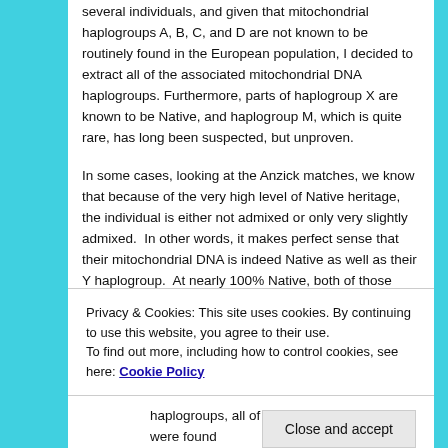several individuals, and given that mitochondrial haplogroups A, B, C, and D are not known to be routinely found in the European population, I decided to extract all of the associated mitochondrial DNA haplogroups. Furthermore, parts of haplogroup X are known to be Native, and haplogroup M, which is quite rare, has long been suspected, but unproven.
In some cases, looking at the Anzick matches, we know that because of the very high level of Native heritage, the individual is either not admixed or only very slightly admixed.  In other words, it makes perfect sense that their mitochondrial DNA is indeed Native as well as their Y haplogroup.  At nearly 100% Native, both of those lines would have to be Native.
Privacy & Cookies: This site uses cookies. By continuing to use this website, you agree to their use.
To find out more, including how to control cookies, see here: Cookie Policy
haplogroups, all of the Native haplogroups were found